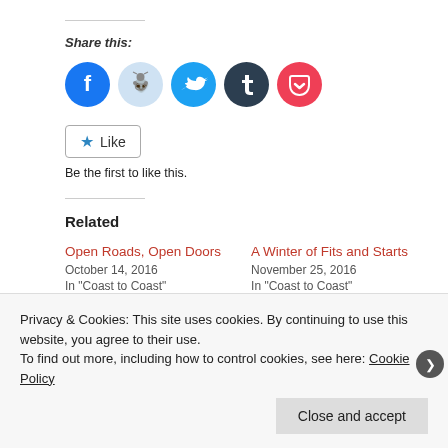Share this:
[Figure (other): Social sharing icons: Facebook (blue circle), Reddit (light blue circle), Twitter (cyan circle), Tumblr (dark navy circle), Pocket (red circle)]
Like
Be the first to like this.
Related
Open Roads, Open Doors
October 14, 2016
In "Coast to Coast"
A Winter of Fits and Starts
November 25, 2016
In "Coast to Coast"
Privacy & Cookies: This site uses cookies. By continuing to use this website, you agree to their use.
To find out more, including how to control cookies, see here: Cookie Policy
Close and accept